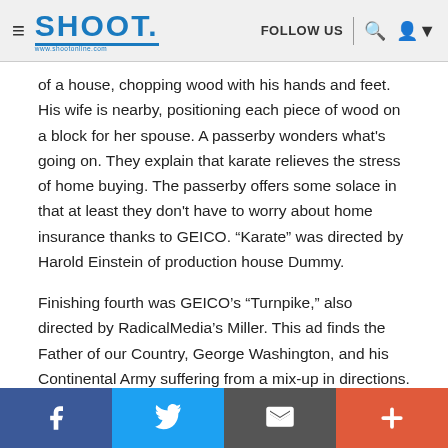SHOOT. | FOLLOW US
of a house, chopping wood with his hands and feet. His wife is nearby, positioning each piece of wood on a block for her spouse. A passerby wonders what's going on. They explain that karate relieves the stress of home buying. The passerby offers some solace in that at least they don't have to worry about home insurance thanks to GEICO. “Karate” was directed by Harold Einstein of production house Dummy.
Finishing fourth was GEICO’s “Turnpike,” also directed by RadicalMedia's Miller. This ad finds the Father of our Country, George Washington, and his Continental Army suffering from a mix-up in directions. Instead of their famed crossing of the Delaware, they instead are in a boat crossing the Delaware Turnpike, backing up traffic much to the chagrin of commuters